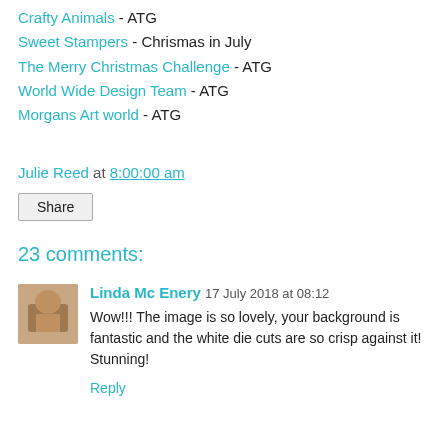Crafty Animals - ATG
Sweet Stampers - Chrismas in July
The Merry Christmas Challenge - ATG
World Wide Design Team - ATG
Morgans Art world - ATG
Julie Reed at 8:00:00 am
Share
23 comments:
Linda Mc Enery 17 July 2018 at 08:12
Wow!!! The image is so lovely, your background is fantastic and the white die cuts are so crisp against it! Stunning!
Reply